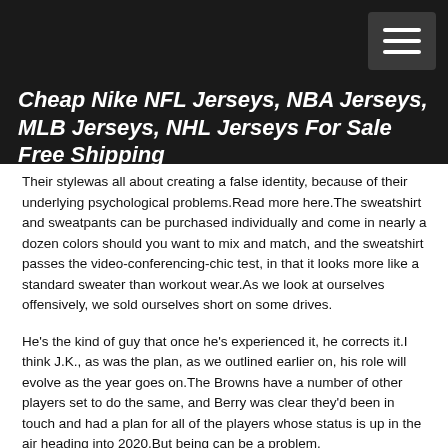Cheap Nike NFL Jerseys, NBA Jerseys, MLB Jerseys, NHL Jerseys For Sale Free Shipping
Their stylewas all about creating a false identity, because of their underlying psychological problems.Read more here.The sweatshirt and sweatpants can be purchased individually and come in nearly a dozen colors should you want to mix and match, and the sweatshirt passes the video-conferencing-chic test, in that it looks more like a standard sweater than workout wear.As we look at ourselves offensively, we sold ourselves short on some drives.
He's the kind of guy that once he's experienced it, he corrects it.I think J.K., as was the plan, as we outlined earlier on, his role will evolve as the year goes on.The Browns have a number of other players set to do the same, and Berry was clear they'd been in touch and had a plan for all of the players whose status is up in the air heading into 2020.But being can be a problem.
Roman was let go by former head coach Rex Ryan two games into the 2016 season, then hired by the Ravens as a senior offensive assistant tight ends coach the following offseason.This is very much a cover for a specific purpose, so don't expect to put it on